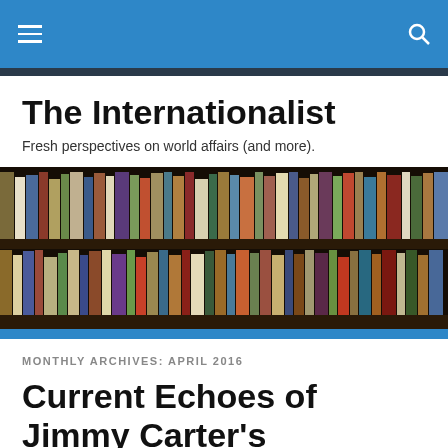The Internationalist
Fresh perspectives on world affairs (and more).
[Figure (photo): Photograph of library bookshelves densely packed with books of various colors and sizes, two rows visible.]
MONTHLY ARCHIVES: APRIL 2016
Current Echoes of Jimmy Carter's Diplomatic Legacy